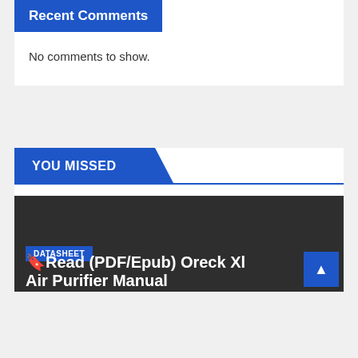Recent Comments
No comments to show.
YOU MISSED
[Figure (screenshot): Dark card with DATASHEET tag and article title beginning with 'Read (PDF/Epub) Oreck Xl Air Purifier Manual']
Read (PDF/Epub) Oreck Xl Air Purifier Manual